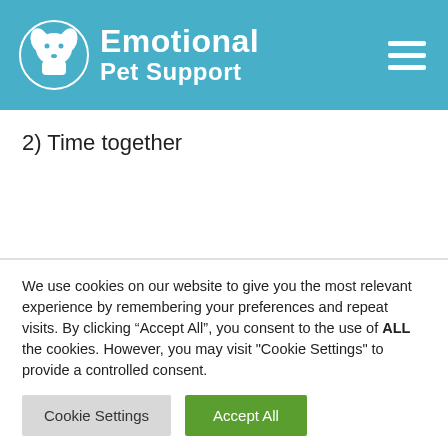Emotional Pet Support
2) Time together
We use cookies on our website to give you the most relevant experience by remembering your preferences and repeat visits. By clicking “Accept All”, you consent to the use of ALL the cookies. However, you may visit "Cookie Settings" to provide a controlled consent.